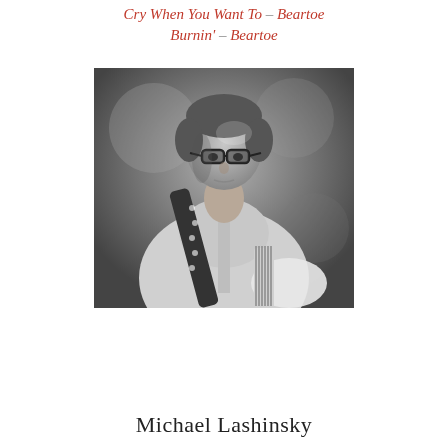Cry When You Want To – Beartoe Burnin' – Beartoe
[Figure (photo): Black and white photograph of Michael Lashinsky, a man with glasses wearing a light-colored button-up shirt, playing an electric guitar with a decorative strap, performing outdoors with a blurred background.]
Michael Lashinsky